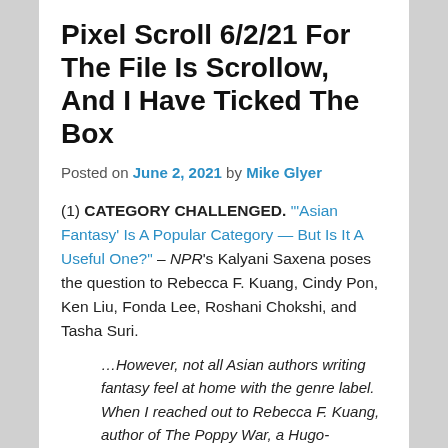Pixel Scroll 6/2/21 For The File Is Scrollow, And I Have Ticked The Box
Posted on June 2, 2021 by Mike Glyer
(1) CATEGORY CHALLENGED. “'Asian Fantasy’ Is A Popular Category — But Is It A Useful One?” – NPR’s Kalyani Saxena poses the question to Rebecca F. Kuang, Cindy Pon, Ken Liu, Fonda Lee, Roshani Chokshi, and Tasha Suri.
…However, not all Asian authors writing fantasy feel at home with the genre label. When I reached out to Rebecca F. Kuang, author of The Poppy War, a Hugo-nominated fantasy trilogy inspired by Chinese history, she said that she finds “Asian fantasy” to be a reductive category.
“I think that Asian doesn’t really make a lot of